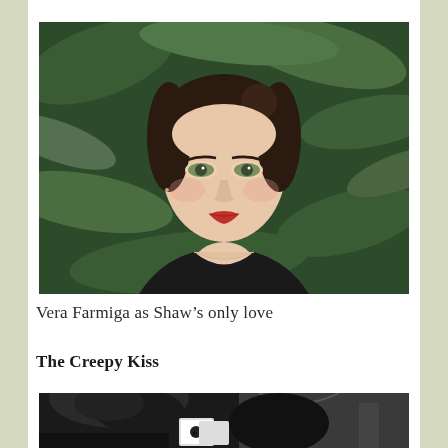[Figure (photo): Portrait photo of a young woman with dark hair pulled back, green eyes, red lips, wearing a dark top, with green tropical foliage in the background. Color photograph.]
Vera Farmiga as Shaw's only love
The Creepy Kiss
[Figure (photo): Black and white photograph showing two people in close proximity apparently kissing, with ornate architectural details in the background. Playing cards are visible in the scene.]